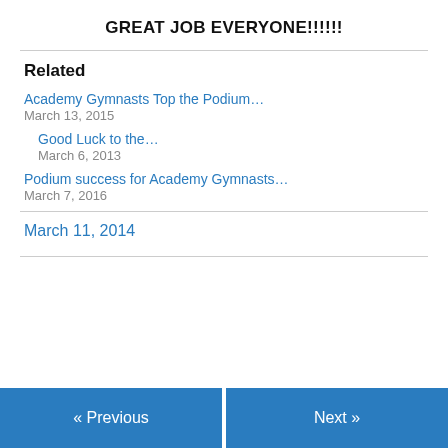GREAT JOB EVERYONE!!!!!!
Related
Academy Gymnasts Top the Podium…
March 13, 2015
Good Luck to the…
March 6, 2013
Podium success for Academy Gymnasts…
March 7, 2016
March 11, 2014
« Previous   Next »